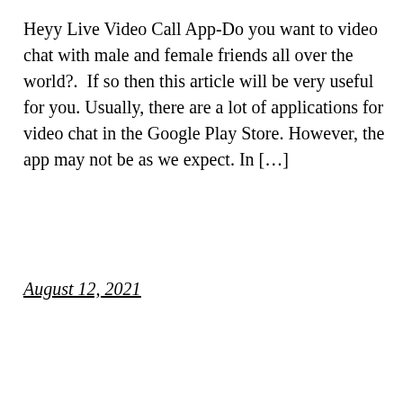Heyy Live Video Call App-Do you want to video chat with male and female friends all over the world?.  If so then this article will be very useful for you. Usually, there are a lot of applications for video chat in the Google Play Store. However, the app may not be as we expect. In […]
August 12, 2021